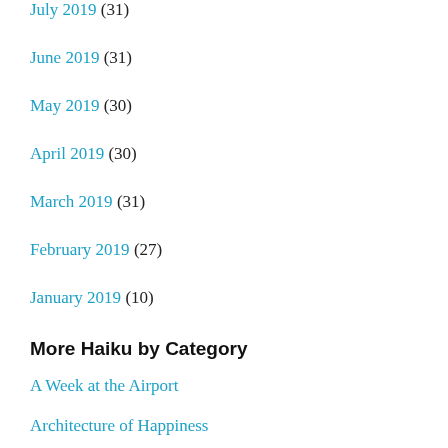July 2019 (31)
June 2019 (31)
May 2019 (30)
April 2019 (30)
March 2019 (31)
February 2019 (27)
January 2019 (10)
More Haiku by Category
A Week at the Airport
Architecture of Happiness
Atlanta
Beach
Coffee, Waking Up